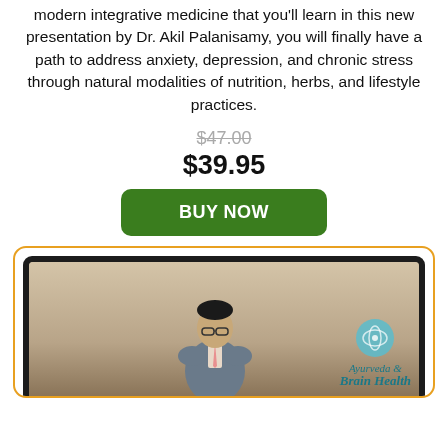modern integrative medicine that you'll learn in this new presentation by Dr. Akil Palanisamy, you will finally have a path to address anxiety, depression, and chronic stress through natural modalities of nutrition, herbs, and lifestyle practices.
$47.00 (strikethrough original price)
$39.95
BUY NOW
[Figure (photo): A laptop displaying a video of Dr. Akil Palanisamy sitting in a chair wearing a suit, with the Ayurveda Brain Health logo visible in the bottom right of the screen. The laptop is shown inside an orange-bordered card.]